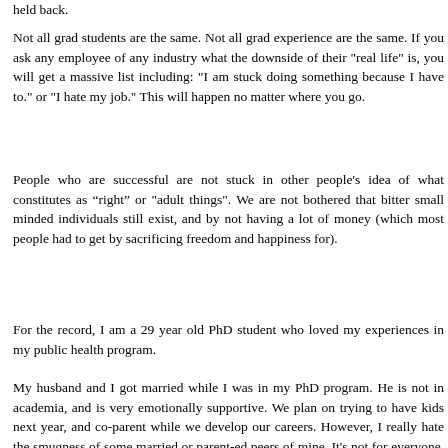held back.
Not all grad students are the same. Not all grad experience are the same. If you ask any employee of any industry what the downside of their "real life" is, you will get a massive list including: "I am stuck doing something because I have to." or "I hate my job." This will happen no matter where you go.
People who are successful are not stuck in other people's idea of what constitutes as “right” or "adult things". We are not bothered that bitter small minded individuals still exist, and by not having a lot of money (which most people had to get by sacrificing freedom and happiness for).
For the record, I am a 29 year old PhD student who loved my experiences in my public health program.
My husband and I got married while I was in my PhD program. He is not in academia, and is very emotionally supportive. We plan on trying to have kids next year, and co-parent while we develop our careers. However, I really hate the smugness of some married or parent-ed peers of mine. It's not for everyone, get over it. I have many close